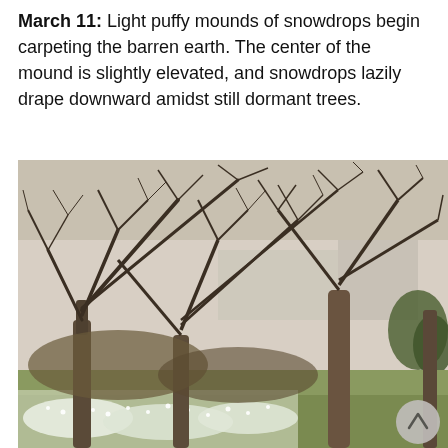March 11: Light puffy mounds of snowdrops begin carpeting the barren earth. The center of the mound is slightly elevated, and snowdrops lazily drape downward amidst still dormant trees.
[Figure (photo): Photograph of dormant bare-branched trees with intricate twisting limbs filling the upper portion of the image. Below the trees, mounds of white snowdrops carpet the ground. Background shows a lawn, a building, and evergreen shrubs. A circular scroll-up button is visible in the lower right corner.]